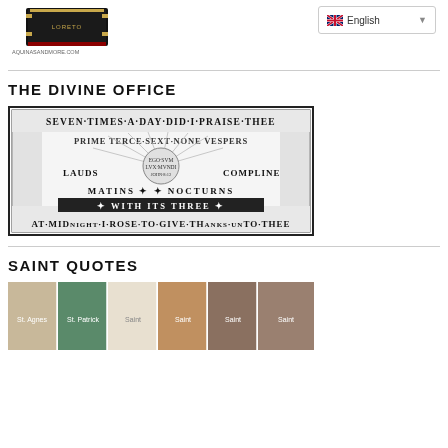[Figure (photo): A black book (breviary) with gold clasps, shown at an angle. Website URL visible below: AQUINASANDMORE.COM]
[Figure (screenshot): English language selector dropdown with UK flag]
THE DIVINE OFFICE
[Figure (illustration): Decorative religious illustration with text: SEVEN TIMES A DAY DID I PRAISE THEE. Shows liturgical hours: PRIME, TERCE, SEXT, NONE, VESPERS, LAUDS, COMPLINE, MATINS, NOCTURNS, WITH ITS THREE. Bottom text: AT MIDNIGHT I ROSE TO GIVE THANKS UNTO THEE]
SAINT QUOTES
[Figure (photo): Row of six saint portrait images including female and male saints]